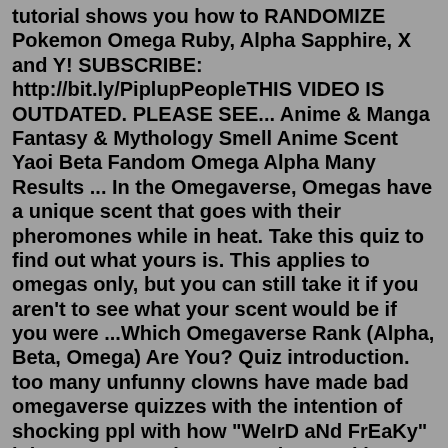tutorial shows you how to RANDOMIZE Pokemon Omega Ruby, Alpha Sapphire, X and Y! SUBSCRIBE: http://bit.ly/PiplupPeopleTHIS VIDEO IS OUTDATED. PLEASE SEE... Anime & Manga Fantasy & Mythology Smell Anime Scent Yaoi Beta Fandom Omega Alpha Many Results ... In the Omegaverse, Omegas have a unique scent that goes with their pheromones while in heat. Take this quiz to find out what yours is. This applies to omegas only, but you can still take it if you aren't to see what your scent would be if you were ...Which Omegaverse Rank (Alpha, Beta, Omega) Are You? Quiz introduction. too many unfunny clowns have made bad omegaverse quizzes with the intention of shocking ppl with how "WeIrD aNd FrEaKy" it is so as a genuine omega i am making a Good Quiz. find out if you are an alph. a, beta, or omega!Nearly all living creatures coexist in a sort of hierarchical system with predefined roles and privileges. This order is most evident in a wolf pack, where the division of labor and mating priorities is divided...